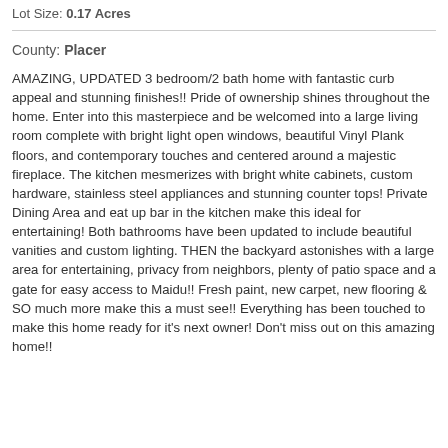Lot Size: 0.17 Acres
County: Placer
AMAZING, UPDATED 3 bedroom/2 bath home with fantastic curb appeal and stunning finishes!! Pride of ownership shines throughout the home. Enter into this masterpiece and be welcomed into a large living room complete with bright light open windows, beautiful Vinyl Plank floors, and contemporary touches and centered around a majestic fireplace. The kitchen mesmerizes with bright white cabinets, custom hardware, stainless steel appliances and stunning counter tops! Private Dining Area and eat up bar in the kitchen make this ideal for entertaining! Both bathrooms have been updated to include beautiful vanities and custom lighting. THEN the backyard astonishes with a large area for entertaining, privacy from neighbors, plenty of patio space and a gate for easy access to Maidu!! Fresh paint, new carpet, new flooring & SO much more make this a must see!! Everything has been touched to make this home ready for it's next owner! Don't miss out on this amazing home!!